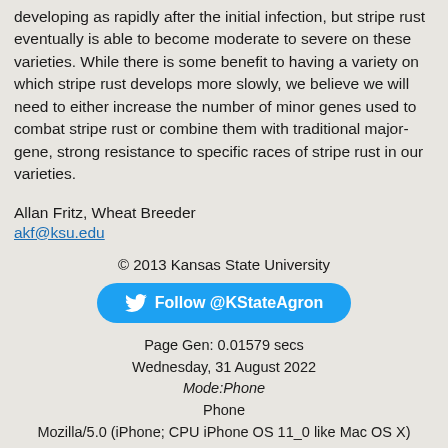developing as rapidly after the initial infection, but stripe rust eventually is able to become moderate to severe on these varieties. While there is some benefit to having a variety on which stripe rust develops more slowly, we believe we will need to either increase the number of minor genes used to combat stripe rust or combine them with traditional major-gene, strong resistance to specific races of stripe rust in our varieties.
Allan Fritz, Wheat Breeder
akf@ksu.edu
© 2013 Kansas State University
[Figure (other): Twitter follow button with bird icon reading 'Follow @KStateAgron']
Page Gen: 0.01579 secs
Wednesday, 31 August 2022
Mode:Phone
Phone
Mozilla/5.0 (iPhone; CPU iPhone OS 11_0 like Mac OS X)